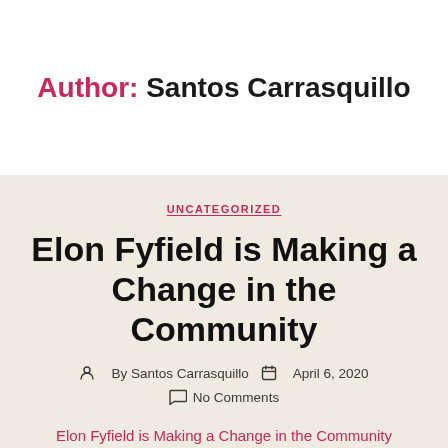Author: Santos Carrasquillo
UNCATEGORIZED
Elon Fyfield is Making a Change in the Community
By Santos Carrasquillo  April 6, 2020
No Comments
Elon Fyfield is Making a Change in the Community